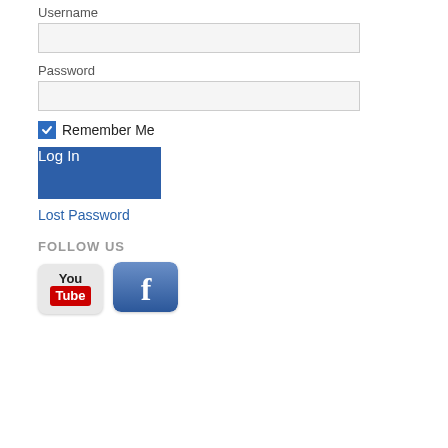Username
[Figure (screenshot): Username input text field, empty, light gray background]
Password
[Figure (screenshot): Password input text field, empty, light gray background]
Remember Me (with blue checkbox checked)
[Figure (screenshot): Blue Log In button]
Lost Password
FOLLOW US
[Figure (logo): YouTube logo icon with white/gray rounded rectangle background and red Tube badge]
[Figure (logo): Facebook logo icon with blue gradient rounded rectangle background and white 'f' letter]